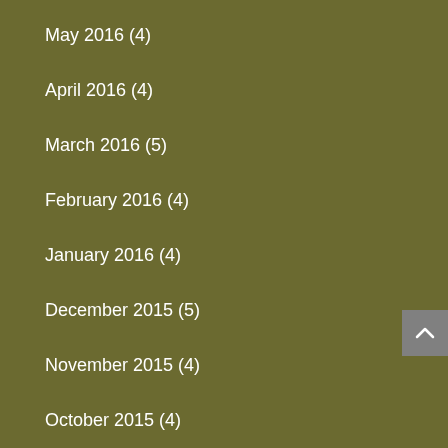May 2016 (4)
April 2016 (4)
March 2016 (5)
February 2016 (4)
January 2016 (4)
December 2015 (5)
November 2015 (4)
October 2015 (4)
September 2015 (4)